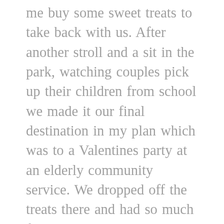me buy some sweet treats to take back with us. After another stroll and a sit in the park, watching couples pick up their children from school we made it our final destination in my plan which was to a Valentines party at an elderly community service. We dropped off the treats there and had so much fun dancing with the elders before being left alone to dance together to slow romantic music. And this was where I made my speech. I told him how I remember how we met when we were young at school and how I want to know everything I missed before we met. How I remember our first date in the cinema and how attached and newly in love we were to falling in love and just being happy with each other, treating ourselves to expensive treats to doing the more casual stuff like shopping and being truly happy and content with him just there beside me. And finally I ended the speech with saying how much I would like to grow old with him and be a happy married couple, starting a family and picking up his kids from school and like those oldelies around us